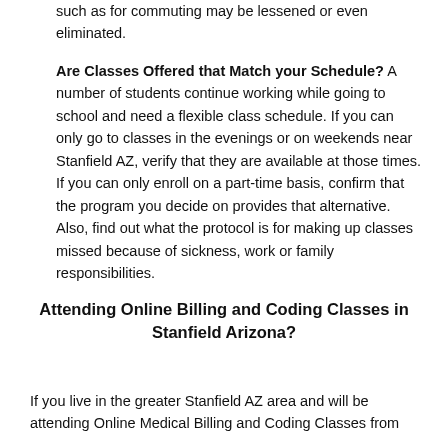such as for commuting may be lessened or even eliminated.
Are Classes Offered that Match your Schedule? A number of students continue working while going to school and need a flexible class schedule. If you can only go to classes in the evenings or on weekends near Stanfield AZ, verify that they are available at those times. If you can only enroll on a part-time basis, confirm that the program you decide on provides that alternative. Also, find out what the protocol is for making up classes missed because of sickness, work or family responsibilities.
Attending Online Billing and Coding Classes in Stanfield Arizona?
If you live in the greater Stanfield AZ area and will be attending Online Medical Billing and Coding Classes from